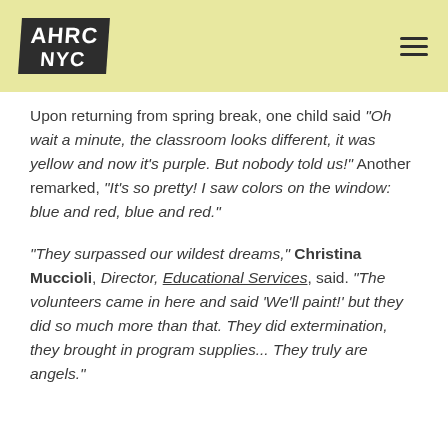AHRC NYC
Upon returning from spring break, one child said "Oh wait a minute, the classroom looks different, it was yellow and now it's purple. But nobody told us!" Another remarked, "It's so pretty! I saw colors on the window: blue and red, blue and red."
"They surpassed our wildest dreams," Christina Muccioli, Director, Educational Services, said. "The volunteers came in here and said 'We'll paint!' but they did so much more than that. They did extermination, they brought in program supplies... They truly are angels."